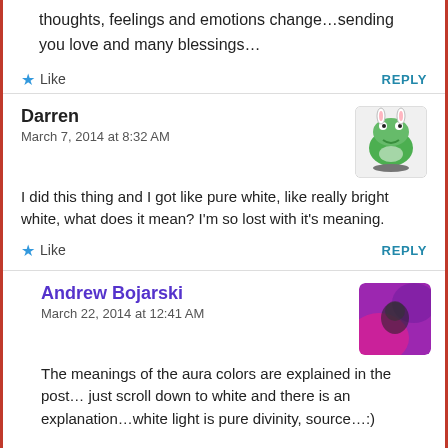thoughts, feelings and emotions change…sending you love and many blessings…
Like   REPLY
Darren
March 7, 2014 at 8:32 AM
I did this thing and I got like pure white, like really bright white, what does it mean? I'm so lost with it's meaning.
Like   REPLY
Andrew Bojarski
March 22, 2014 at 12:41 AM
The meanings of the aura colors are explained in the post… just scroll down to white and there is an explanation…white light is pure divinity, source…:)